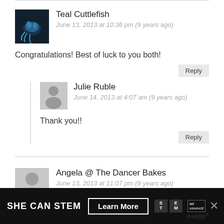Teal Cuttlefish
June 13, 2013 at 10:36 pm (9 years ago)
Congratulations! Best of luck to you both!
Reply
Julie Ruble
June 14, 2013 at 4:07 am (9 years ago)
Thank you!!
Reply
Angela @ The Dancer Bakes
June 13, 2013 at 11:07 pm (9 years ago)
I am SO happy for you two!!! Congratulations
[Figure (infographic): SHE CAN STEM advertisement banner with Learn More button, STEM logo boxes, Ad Council logo, and close X button]